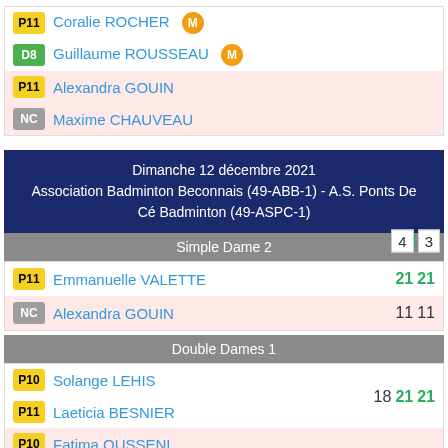| Badge | Player | Scores |
| --- | --- | --- |
| P11 | Coralie ROCHER [M] | 21 21 |
| D8 | Guillaume ROUSSEAU [M] |  |
| P11 | Alexandra GOUIN | 4 3 |
| NC | Maxime CHAUVEAU |  |
Dimanche 12 décembre 2021
Association Badminton Beconnais (49-ABB-1) - A.S. Ponts De Cé Badminton (49-ASPC-1)
Simple Dame 2
| Badge | Player | Scores |
| --- | --- | --- |
| P11 | Emmanuelle VALETTE | 21 21 |
| NC | Alexandra GOUIN | 11 11 |
Double Dames 1
| Badge | Player | Scores |
| --- | --- | --- |
| P10 | Solange LEHIS | 18 21 21 |
| P11 | Laeticia BESNIER |  |
| P10 | Fatima OUSSENI | 21 18 17 |
| NC | Alexandra GOUIN |  |